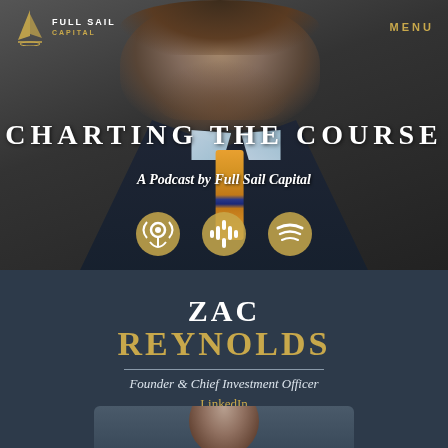Full Sail Capital | MENU
[Figure (photo): Professional headshot of Zac Reynolds in a dark suit and orange striped tie against a dark background]
CHARTING THE COURSE
A Podcast by Full Sail Capital
[Figure (infographic): Three podcast platform icons: Apple Podcasts, Google Podcasts, and Spotify rendered in gold]
ZAC REYNOLDS
Founder & Chief Investment Officer
LinkedIn
[Figure (photo): Partial view of a second person's headshot at the bottom of the page]